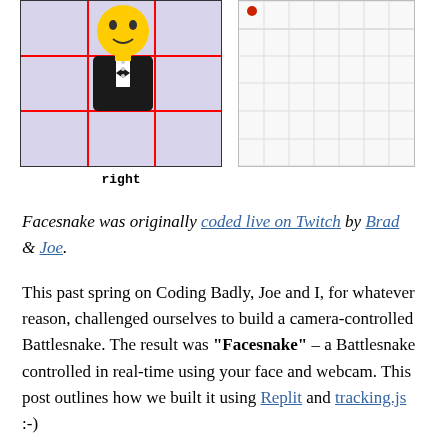[Figure (screenshot): Left: emoji face in tuxedo on a purple grid with red crosshairs overlay divided into quadrants. Right: a small grid/calendar-like widget with a red dot in the upper area.]
right
Facesnake was originally coded live on Twitch by Brad & Joe.
This past spring on Coding Badly, Joe and I, for whatever reason, challenged ourselves to build a camera-controlled Battlesnake. The result was "Facesnake" – a Battlesnake controlled in real-time using your face and webcam. This post outlines how we built it using Replit and tracking.js :-)
View the complete source code on GitHub, run it on